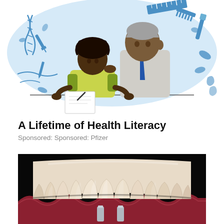[Figure (illustration): Health literacy illustration showing a young Black woman writing on paper at a desk, with an older doctor in a white coat and blue tie standing behind her. Background is a light blue oval with medical/health icons: DNA strand, syringe, pencil, ruler, comb, toothbrush, pills, kidney shapes scattered around.]
A Lifetime of Health Literacy
Sponsored: Sponsored: Pfizer
[Figure (photo): Close-up 3D rendered or photographic image of dental implants and a dental bridge/crown (porcelain teeth) on a dark/black background. Shows a row of cream-colored artificial teeth crown bridge viewed from below, with two visible metal implant posts (abutments) at the bottom center, set against dark red gum-like material.]